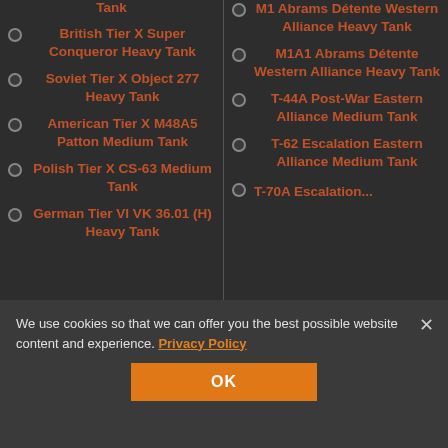Tank
British Tier X Super Conqueror Heavy Tank
Soviet Tier X Object 277 Heavy Tank
American Tier X M48A5 Patton Medium Tank
Polish Tier X CS-63 Medium Tank
German Tier VI VK 36.01 (H) Heavy Tank
M1 Abrams Détente Western Alliance Heavy Tank
M1A1 Abrams Détente Western Alliance Heavy Tank
T-44A Post-War Eastern Alliance Medium Tank
T-62 Escalation Eastern Alliance Medium Tank
T-70A Escalation...
We use cookies so that we can offer you the best possible website content and experience. Privacy Policy
OK